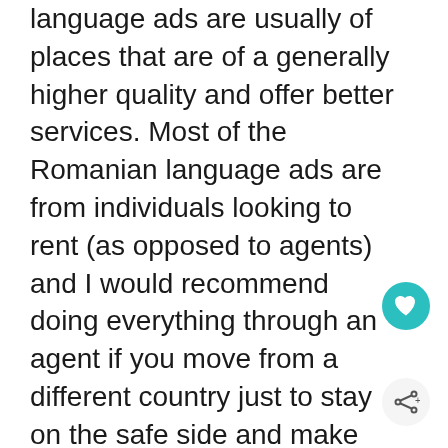language ads are usually of places that are of a generally higher quality and offer better services. Most of the Romanian language ads are from individuals looking to rent (as opposed to agents) and I would recommend doing everything through an agent if you move from a different country just to stay on the safe side and make sure that the contract is legal. Also, some of these agencies offer additional and better services.

But this is not a must: you can check out OLX for ads (I have ran